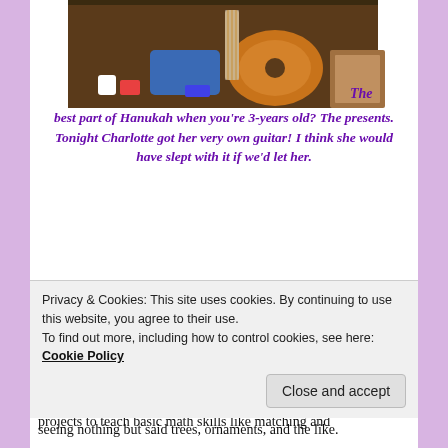[Figure (photo): Child sitting with an acoustic guitar surrounded by colorful items on the floor, with the word 'The' appearing in purple italic text to the right of the photo.]
The best part of Hanukah when you're 3-years old? The presents. Tonight Charlotte got her very own guitar! I think she would have slept with it if we'd let her.
Or is it Chanukah? Or Hanukkah? Does it really matter? A Hanukah Story to share with you: Every month Charlotte's teacher, Celine, works with a theme. This month the theme has been "the holidays" which has mostly meant Christmas. The children have made a lot of Christmas trees–Céline uses the "art" projects to teach basic math skills like matching and
Privacy & Cookies: This site uses cookies. By continuing to use this website, you agree to their use. To find out more, including how to control cookies, see here: Cookie Policy
seeing nothing but said trees, ornaments, and the like.